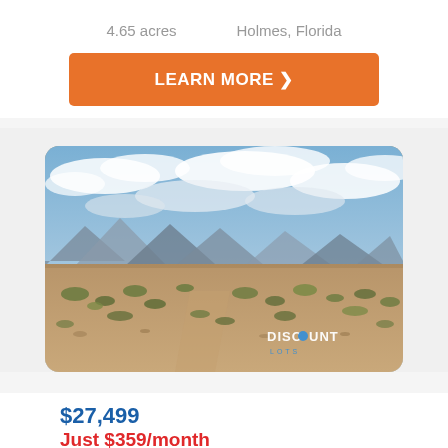4.65 acres    Holmes,  Florida
LEARN MORE ❯
[Figure (photo): Desert landscape photo with scrubby bushes, sandy terrain, and mountains in the background under a cloudy sky. A 'Discount Lots' watermark is visible in the lower right corner.]
$27,499
Just $359/month